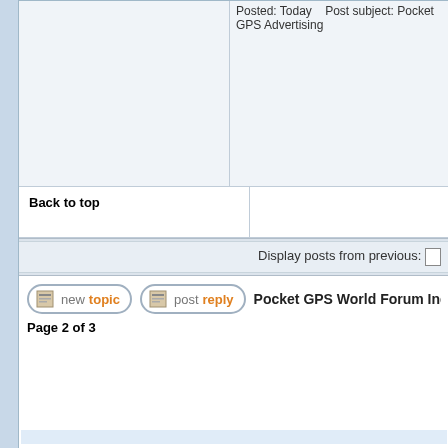Posted: Today   Post subject: Pocket GPS Advertising
Back to top
Display posts from previous:
[Figure (screenshot): New Topic button with icon]
[Figure (screenshot): Post Reply button with icon]
Pocket GPS World Forum Index -> Non-Tec
Page 2 of 3
Powered by phpBB port v2.1 based on Tom Nitzschner's phpbb2.0.6 ArtificialIntel, ChatServ, mikem, sixo... Version 2.1 by Nuke Cop...